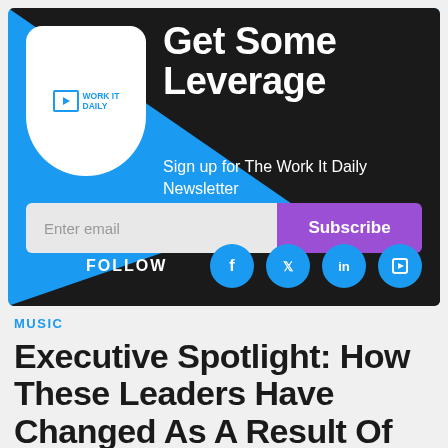[Figure (infographic): Work It Daily newsletter signup banner with blue and black background, logo, email input field, Subscribe button, and social media follow icons (Facebook, Twitter, LinkedIn, Flipboard)]
MUSIC
Executive Spotlight: How These Leaders Have Changed As A Result Of